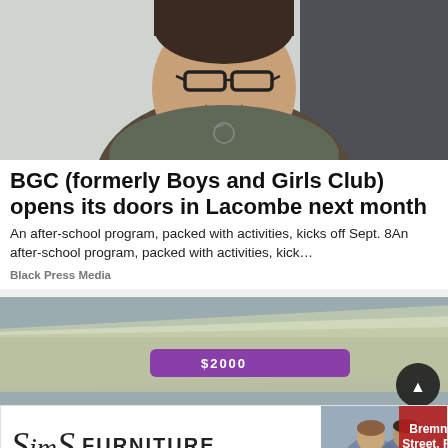[Figure (photo): Woman with short dark hair and glasses, smiling, wearing a grey top with a necklace, photographed from the shoulders up against a light background.]
BGC (formerly Boys and Girls Club) opens its doors in Lacombe next month
An after-school program, packed with activities, kicks off Sept. 8An after-school program, packed with activities, kick…
Black Press Media
[Figure (photo): Close-up photo of a rolled stack of US dollar bills secured with a purple band labeled '$2000'.]
[Figure (photo): Advertisement banner for Sims Furniture showing two people sitting on a couch, with text 'Bremner Street, Red Deer'.]